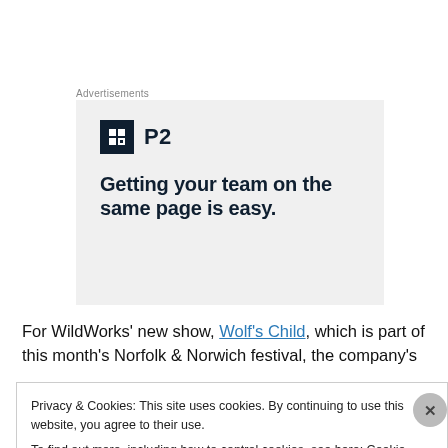Advertisements
[Figure (illustration): Advertisement for P2 software showing logo with dark square icon and text: Getting your team on the same page is easy.]
For WildWorks’ new show, Wolf’s Child, which is part of this month’s Norfolk & Norwich festival, the company’s
Privacy & Cookies: This site uses cookies. By continuing to use this website, you agree to their use.
To find out more, including how to control cookies, see here: Cookie Policy
Close and accept